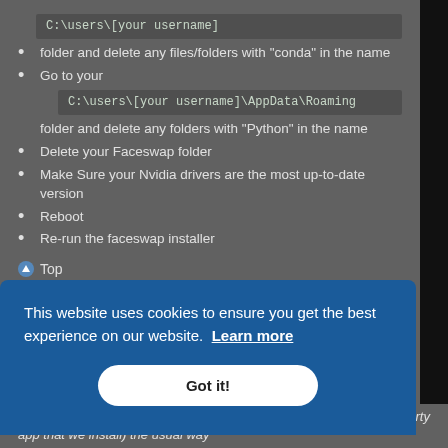folder and delete any files/folders with "conda" in the name
Go to your C:\users\[your username]\AppData\Roaming folder and delete any folders with "Python" in the name
Delete your Faceswap folder
Make Sure your Nvidia drivers are the most up-to-date version
Reboot
Re-run the faceswap installer
Top
[Figure (screenshot): Cookie consent banner overlay with blue background reading 'This website uses cookies to ensure you get the best experience on our website. Learn more' and a 'Got it!' button]
Then if you want to you can also uninstall miniConda (the only 3rd party app that we install) the usual way